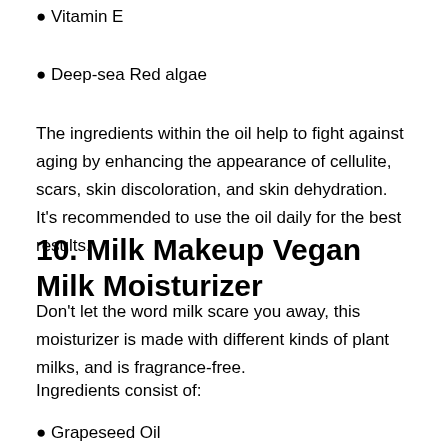Vitamin E
Deep-sea Red algae
The ingredients within the oil help to fight against aging by enhancing the appearance of cellulite, scars, skin discoloration, and skin dehydration. It's recommended to use the oil daily for the best results.
10. Milk Makeup Vegan Milk Moisturizer
Don't let the word milk scare you away, this moisturizer is made with different kinds of plant milks, and is fragrance-free.
Ingredients consist of:
Grapeseed Oil
Oat Milk